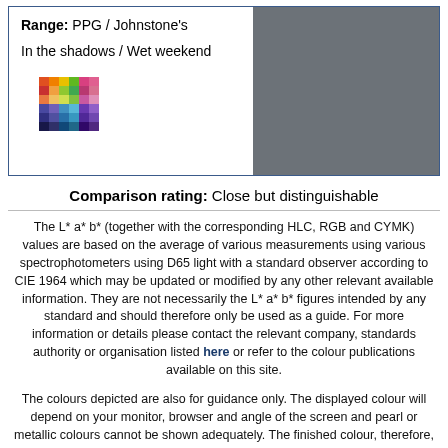Range: PPG / Johnstone's
In the shadows / Wet weekend
[Figure (illustration): Small color swatch grid showing multiple colors in a grid pattern]
[Figure (illustration): Large grey-blue color swatch rectangle]
Comparison rating: Close but distinguishable
The L* a* b* (together with the corresponding HLC, RGB and CYMK) values are based on the average of various measurements using various spectrophotometers using D65 light with a standard observer according to CIE 1964 which may be updated or modified by any other relevant available information. They are not necessarily the L* a* b* figures intended by any standard and should therefore only be used as a guide. For more information or details please contact the relevant company, standards authority or organisation listed here or refer to the colour publications available on this site.
The colours depicted are also for guidance only. The displayed colour will depend on your monitor, browser and angle of the screen and pearl or metallic colours cannot be shown adequately. The finished colour, therefore, may not be as shown here.